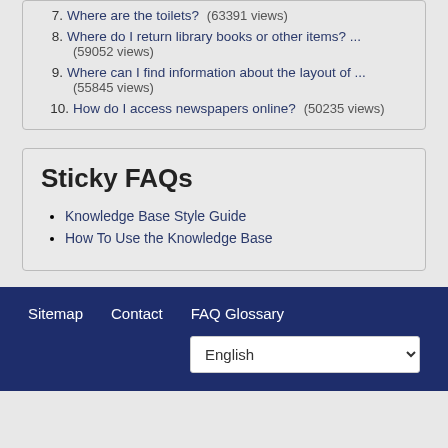7. Where are the toilets? (63391 views)
8. Where do I return library books or other items? ... (59052 views)
9. Where can I find information about the layout of ... (55845 views)
10. How do I access newspapers online? (50235 views)
Sticky FAQs
Knowledge Base Style Guide
How To Use the Knowledge Base
Sitemap   Contact   FAQ Glossary   English